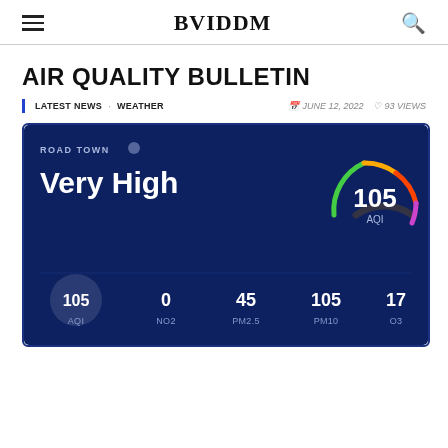BVIDDM
AIR QUALITY BULLETIN
LATEST NEWS · WEATHER  JUNE 12, 2022  93 VIEWS
[Figure (infographic): Air quality dashboard card for Road Town showing Very High AQI of 105. Bottom row metrics: AQI 105, NO2 0, PM2.5 45, PM10 105, O3 17. Gauge dial in top right showing 105 AQI.]